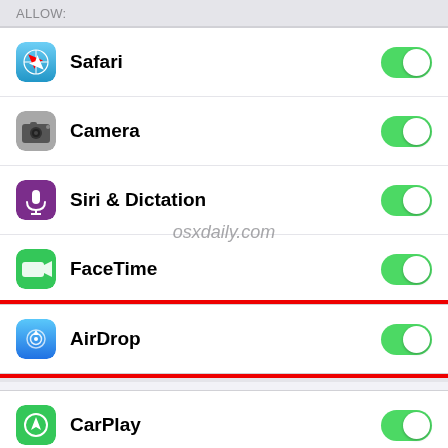ALLOW:
Safari
Camera
Siri & Dictation
FaceTime
AirDrop
CarPlay
iTunes Store
[Figure (screenshot): iOS Settings screen showing Restrictions/Allow list with toggle switches for Safari, Camera, Siri & Dictation, FaceTime, AirDrop (highlighted with red rectangle), CarPlay, and iTunes Store. All toggles are green/on. Watermark 'osxdaily.com' visible.]